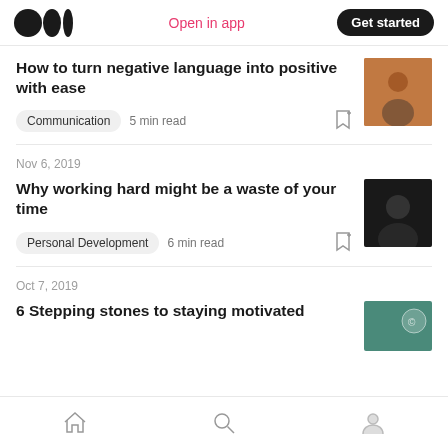Medium logo | Open in app | Get started
How to turn negative language into positive with ease
Communication  5 min read
Nov 6, 2019
Why working hard might be a waste of your time
Personal Development  6 min read
Oct 7, 2019
6 Stepping stones to staying motivated
Home | Search | Profile